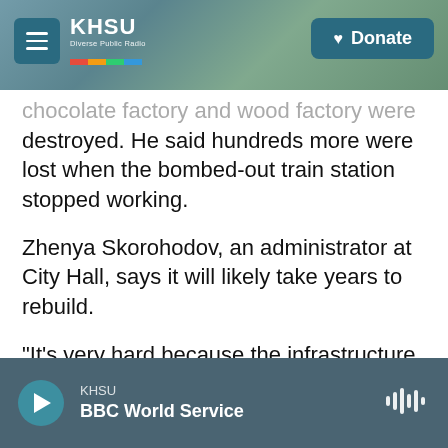KHSU | Donate
chocolate factory and wood factory were destroyed. He said hundreds more were lost when the bombed-out train station stopped working.
Zhenya Skorohodov, an administrator at City Hall, says it will likely take years to rebuild.
"It's very hard because the infrastructure of the city is almost destroyed," Skorohodov says. "So nowadays, we don't have any abilities to go back to normal life because it needs much financial resources to reconstruct the infrastructure subjects in the city."
KHSU — BBC World Service